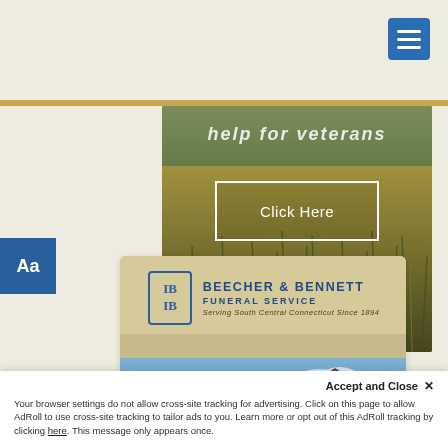[Figure (screenshot): Navigation menu button (hamburger icon) on beige background with blue square button]
[Figure (photo): Hero image with grass/wheat field background, text 'help for veterans' and 'Click Here' button overlay]
[Figure (logo): Beecher & Bennett Funeral Service advertisement card with logo and building photos]
Accept and Close X
Your browser settings do not allow cross-site tracking for advertising. Click on this page to allow AdRoll to use cross-site tracking to tailor ads to you. Learn more or opt out of this AdRoll tracking by clicking here. This message only appears once.